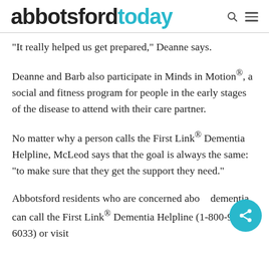abbotsfordtoday
“It really helped us get prepared,” Deanne says.
Deanne and Barb also participate in Minds in Motion®, a social and fitness program for people in the early stages of the disease to attend with their care partner.
No matter why a person calls the First Link® Dementia Helpline, McLeod says that the goal is always the same: “to make sure that they get the support they need.”
Abbotsford residents who are concerned about dementia can call the First Link® Dementia Helpline (1-800-936-6033) or visit